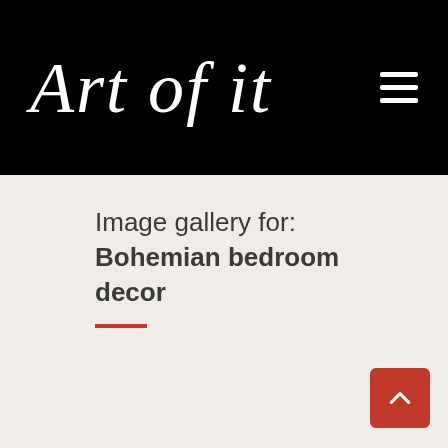Art of it
Image gallery for: Bohemian bedroom decor